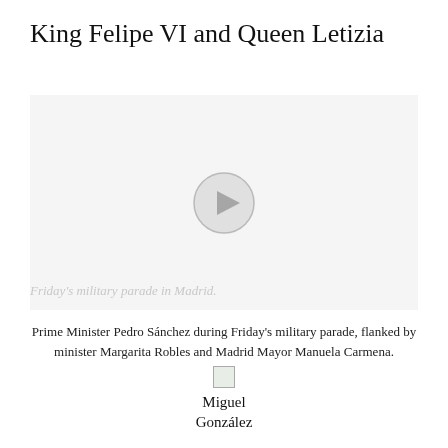King Felipe VI and Queen Letizia
[Figure (screenshot): Video player area with a circular play button in the center on a light gray background]
Friday's military parade in Madrid.
Prime Minister Pedro Sánchez during Friday's military parade, flanked by minister Margarita Robles and Madrid Mayor Manuela Carmena.
[Figure (photo): Small thumbnail image placeholder for author photo]
Miguel González